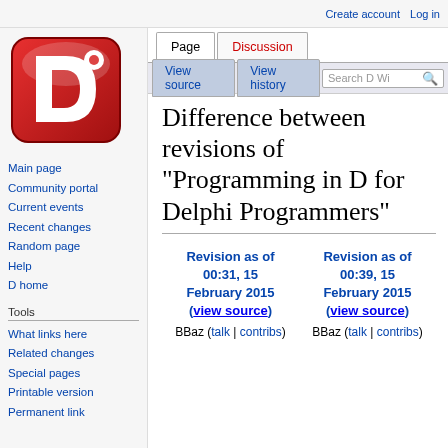Create account  Log in
[Figure (logo): D programming language wiki logo — red rounded square with white D and dot]
Main page
Community portal
Current events
Recent changes
Random page
Help
D home
Tools
What links here
Related changes
Special pages
Printable version
Permanent link
Difference between revisions of "Programming in D for Delphi Programmers"
| Revision as of 00:31, 15 February 2015 (view source) | Revision as of 00:39, 15 February 2015 (view source) |
| --- | --- |
| BBaz (talk | contribs) | BBaz (talk | contribs) |